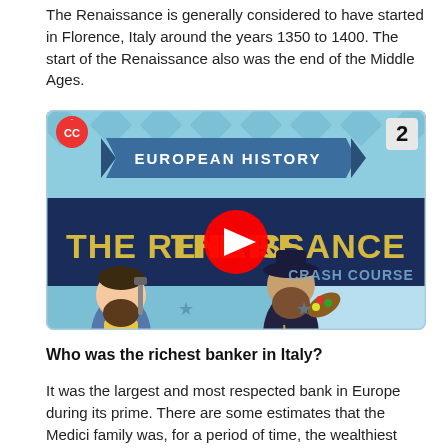The Renaissance is generally considered to have started in Florence, Italy around the years 1350 to 1400. The start of the Renaissance also was the end of the Middle Ages.
[Figure (screenshot): YouTube video thumbnail for 'The Renaissance - Crash Course European History #2' showing two illustrated bearded men (one a blacksmith, one an artist with palette), bold title text 'THE RENAISSANCE', a blue ribbon banner reading 'EUROPEAN HISTORY', the number 2 in the top right, a CC badge in the top left, a red YouTube play button in the center, and 'CRASH COURSE' watermark text, all on a blue diamond-pattern background.]
Who was the richest banker in Italy?
It was the largest and most respected bank in Europe during its prime. There are some estimates that the Medici family was, for a period of time, the wealthiest family in Europe.